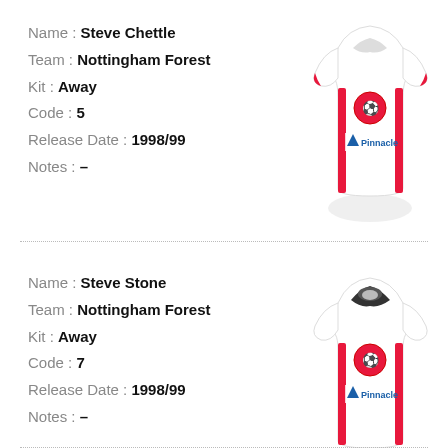Name : Steve Chettle
Team : Nottingham Forest
Kit : Away
Code : 5
Release Date : 1998/99
Notes : –
[Figure (photo): A small ceramic/figurine football shirt (away kit) for Nottingham Forest, white with red trim, featuring a circular club badge and Pinnacle sponsor logo]
Name : Steve Stone
Team : Nottingham Forest
Kit : Away
Code : 7
Release Date : 1998/99
Notes : –
[Figure (photo): A small ceramic/figurine football shirt (away kit) for Nottingham Forest, white with red trim, featuring a black collar, circular club badge and Pinnacle sponsor logo]